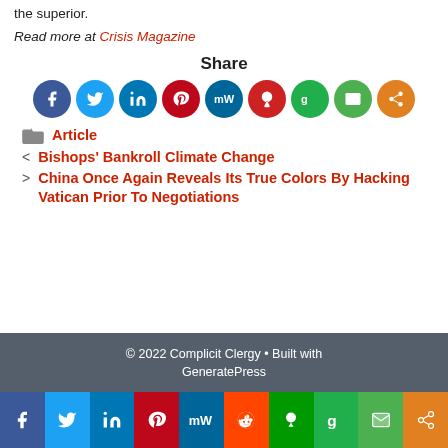the superior.
Read more at Crisis Magazine
[Figure (infographic): Share section with social media icon buttons: Facebook, Twitter, LinkedIn, Pinterest, MeWe, Parler, Gab, Email, Share]
Article
< Bishops' Bankroll Climate Change
> China Once Again Reveals Its True Colors By Hacking Vatican Prior To Negotiations
© 2022 Complicit Clergy • Built with GeneratePress
[Figure (infographic): Bottom sticky social share bar with icons: Facebook, Twitter, LinkedIn, Pinterest, MeWe, Reddit, Parler, Gab, Email, Share]